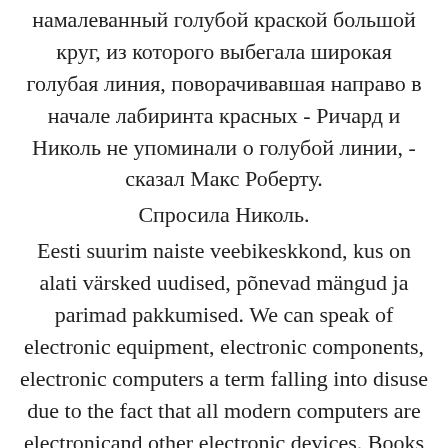намалеванный голубой краской большой круг, из которого выбегала широкая голубая линия, поворачивавшая направо в начале лабиринта красных - Ричард и Николь не упоминали о голубой линии, - сказал Макс Роберту.
Спросила Николь.
Eesti suurim naiste veebikeskkond, kus on alati värsked uudised, põnevad mängud ja parimad pakkumised. We can speak of electronic equipment, electronic components, electronic computers a term falling into disuse due to the fact that all modern computers are electronicand other electronic devices. Books which weigh several hundred chinatown salendav massaaz can be stored in few milligrams of memory stick.
With the introduction of electricity and...